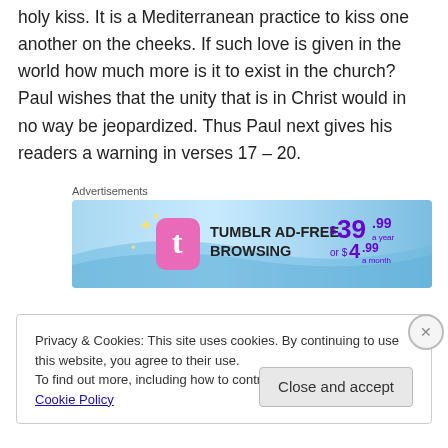holy kiss. It is a Mediterranean practice to kiss one another on the cheeks. If such love is given in the world how much more is it to exist in the church? Paul wishes that the unity that is in Christ would in no way be jeopardized. Thus Paul next gives his readers a warning in verses 17 – 20.
[Figure (screenshot): Tumblr Ad-Free Browsing advertisement banner. Blue gradient background with Tumblr logo. Text: TUMBLR AD-FREE BROWSING $39.99 a year or $4.99 a month]
Privacy & Cookies: This site uses cookies. By continuing to use this website, you agree to their use.
To find out more, including how to control cookies, see here: Cookie Policy